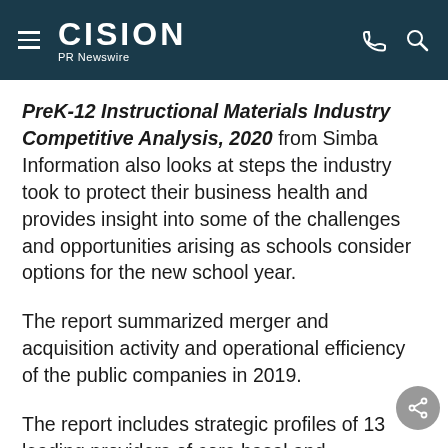CISION PR Newswire
PreK-12 Instructional Materials Industry Competitive Analysis, 2020 from Simba Information also looks at steps the industry took to protect their business health and provides insight into some of the challenges and opportunities arising as schools consider options for the new school year.
The report summarized merger and acquisition activity and operational efficiency of the public companies in 2019.
The report includes strategic profiles of 13 leading providers of core basal and supplemental